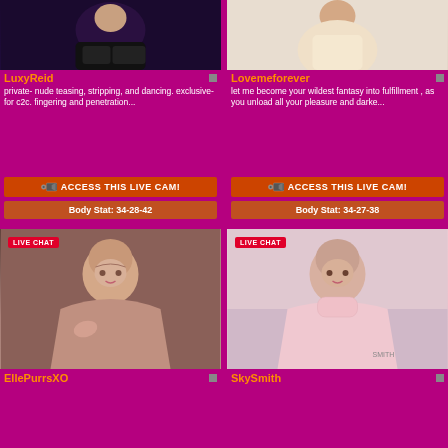[Figure (photo): Thumbnail photo of LuxyReid in lingerie]
LuxyReid
private- nude teasing, stripping, and dancing. exclusive- for c2c. fingering and penetration...
ACCESS THIS LIVE CAM!
Body Stat: 34-28-42
[Figure (photo): Thumbnail photo of Lovemeforever in beige top]
Lovemeforever
let me become your wildest fantasy into fulfillment , as you unload all your pleasure and darke...
ACCESS THIS LIVE CAM!
Body Stat: 34-27-38
[Figure (photo): Live chat thumbnail of EllePurrsXO]
EllePurrsXO
[Figure (photo): Live chat thumbnail of SkySmith]
SkySmith